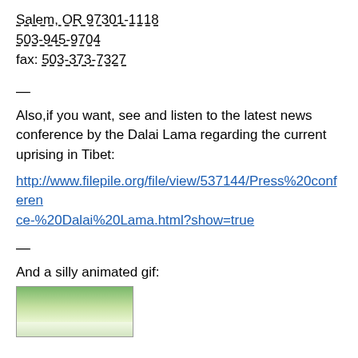Salem, OR 97301-1118
503-945-9704
fax: 503-373-7327
—
Also,if you want, see and listen to the latest news conference by the Dalai Lama regarding the current uprising in Tibet:
http://www.filepile.org/file/view/537144/Press%20conference-%20Dalai%20Lama.html?show=true
—
And a silly animated gif:
[Figure (photo): Partial view of trees and foliage, green outdoor scene, bottom of image cut off]